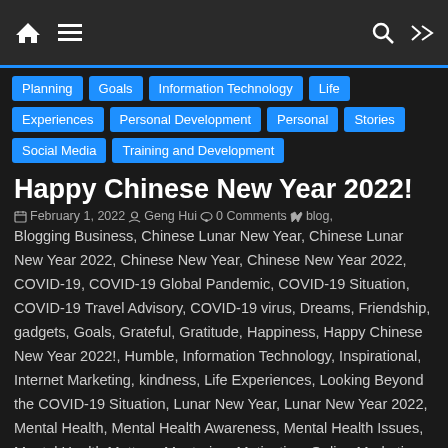Navigation bar with home, menu, search, and shuffle icons
Planning
Goals
Information Technology
Life Experiences
Personal Development
Personal Stories
Social Media
Training and Development
Happy Chinese New Year 2022!
February 1, 2022  Geng Hui  0 Comments  blog, Blogging Business, Chinese Lunar New Year, Chinese Lunar New Year 2022, Chinese New Year, Chinese New Year 2022, COVID-19, COVID-19 Global Pandemic, COVID-19 Situation, COVID-19 Travel Advisory, COVID-19 virus, Dreams, Friendship, gadgets, Goals, Grateful, Gratitude, Happiness, Happy Chinese New Year 2022!, Humble, Information Technology, Inspirational, Internet Marketing, kindness, Life Experiences, Looking Beyond the COVID-19 Situation, Lunar New Year, Lunar New Year 2022, Mental Health, Mental Health Awareness, Mental Health Issues, Mental Health Matters, Mentoring, Motivation, Online Marketing, Pass It On, Pay It Forward, Personal, Personal Development, Personal Stories,